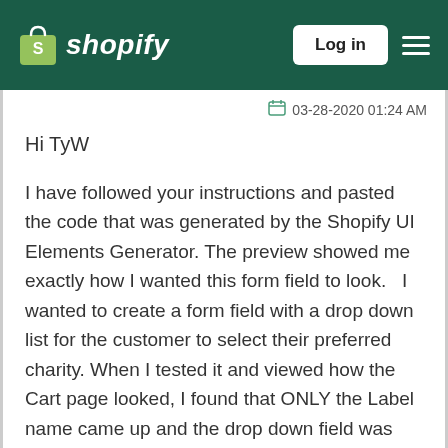Shopify — Log in
03-28-2020 01:24 AM
Hi TyW
I have followed your instructions and pasted the code that was generated by the Shopify UI Elements Generator. The preview showed me exactly how I wanted this form field to look.   I wanted to create a form field with a drop down list for the customer to select their preferred charity. When I tested it and viewed how the Cart page looked, I found that ONLY the Label name came up and the drop down field was not visible.
Any clues as to what I might have done wrong